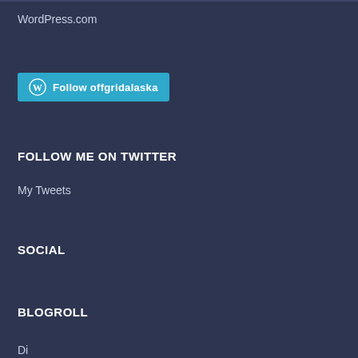WordPress.com
[Figure (other): Follow offgridalaska button with WordPress logo icon on teal/cyan background]
FOLLOW ME ON TWITTER
My Tweets
SOCIAL
BLOGROLL
Di